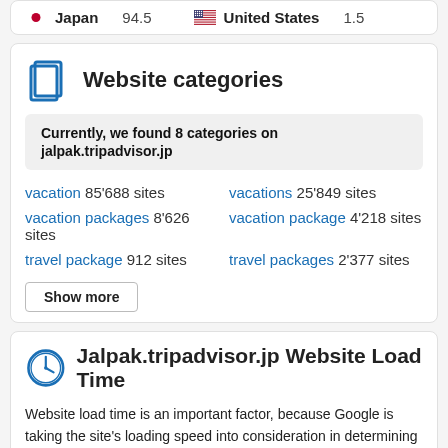Japan 94.5   United States 1.5
Website categories
Currently, we found 8 categories on jalpak.tripadvisor.jp
vacation 85'688 sites
vacations 25'849 sites
vacation packages 8'626 sites
vacation package 4'218 sites
travel package 912 sites
travel packages 2'377 sites
Show more
Jalpak.tripadvisor.jp Website Load Time
Website load time is an important factor, because Google is taking the site's loading speed into consideration in determining its ranking. Even though this will not have a big impact, it is still something we (webmasters) should really